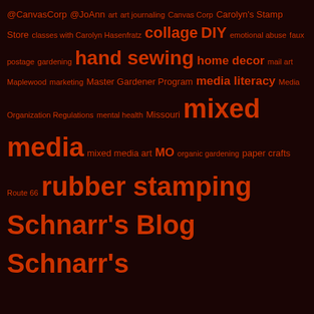@CanvasCorp @JoAnn art art journaling Canvas Corp Carolyn's Stamp Store classes with Carolyn Hasenfratz collage DIY emotional abuse faux postage gardening hand sewing home decor mail art Maplewood marketing Master Gardener Program media literacy Media Organization Regulations mental health Missouri mixed media mixed media art MO organic gardening paper crafts Route 66 rubber stamping Schnarr's Blog Schnarr's